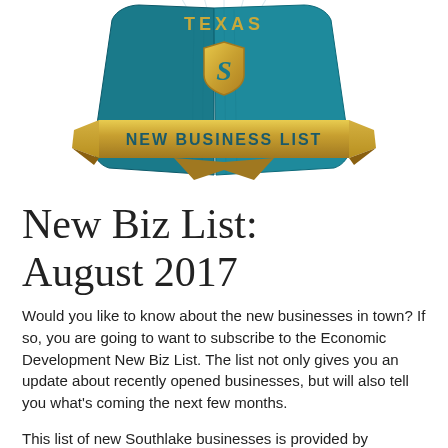[Figure (illustration): A decorative badge/emblem with a teal/dark blue book-like background, a gold shield with stylized 'S' letter, text 'TEXAS' at the top, and a gold ribbon banner reading 'NEW BUSINESS LIST']
New Biz List: August 2017
Would you like to know about the new businesses in town? If so, you are going to want to subscribe to the Economic Development New Biz List. The list not only gives you an update about recently opened businesses, but will also tell you what’s coming the next few months.
This list of new Southlake businesses is provided by